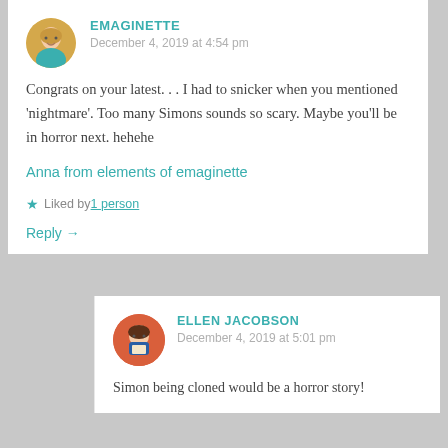EMAGINETTE
December 4, 2019 at 4:54 pm
Congrats on your latest. . . I had to snicker when you mentioned ‘nightmare’. Too many Simons sounds so scary. Maybe you’ll be in horror next. hehehe
Anna from elements of emaginette
Liked by 1 person
Reply →
ELLEN JACOBSON
December 4, 2019 at 5:01 pm
Simon being cloned would be a horror story!